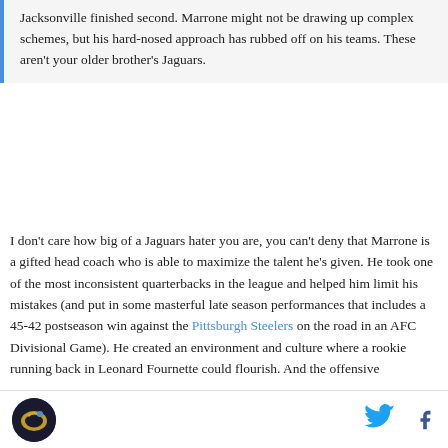Jacksonville finished second. Marrone might not be drawing up complex schemes, but his hard-nosed approach has rubbed off on his teams. These aren't your older brother's Jaguars.
I don't care how big of a Jaguars hater you are, you can't deny that Marrone is a gifted head coach who is able to maximize the talent he's given. He took one of the most inconsistent quarterbacks in the league and helped him limit his mistakes (and put in some masterful late season performances that includes a 45-42 postseason win against the Pittsburgh Steelers on the road in an AFC Divisional Game). He created an environment and culture where a rookie running back in Leonard Fournette could flourish. And the offensive
[Figure (logo): Jaguars logo circle]